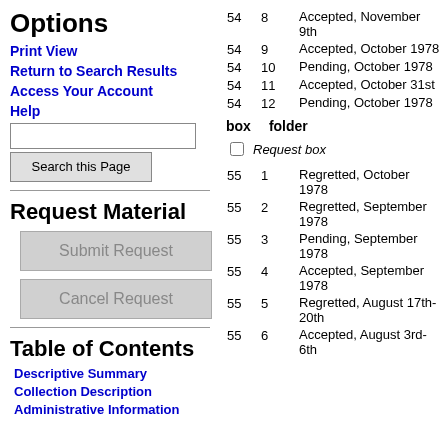Options
Print View
Return to Search Results
Access Your Account
Help
Request Material
Table of Contents
Descriptive Summary
Collection Description
Administrative Information
| box | folder | description |
| --- | --- | --- |
| 54 | 8 | Accepted, November 9th |
| 54 | 9 | Accepted, October 1978 |
| 54 | 10 | Pending, October 1978 |
| 54 | 11 | Accepted, October 31st |
| 54 | 12 | Pending, October 1978 |
| 55 | 1 | Regretted, October 1978 |
| 55 | 2 | Regretted, September 1978 |
| 55 | 3 | Pending, September 1978 |
| 55 | 4 | Accepted, September 1978 |
| 55 | 5 | Regretted, August 17th-20th |
| 55 | 6 | Accepted, August 3rd-6th |